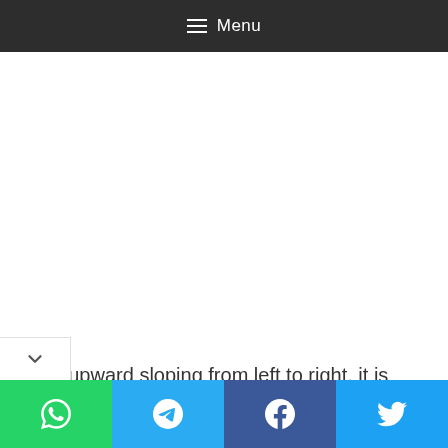≡ Menu
If it is upward sloping from left to right, it is
[Figure (screenshot): Four social media share buttons: WhatsApp (green), Telegram (blue), Facebook (dark blue), Twitter (light blue), with a collapse chevron arrow on the bottom left]